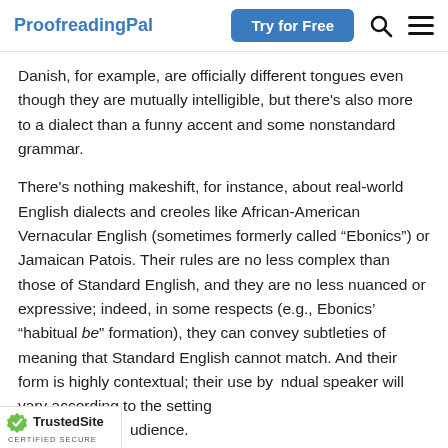ProofreadingPal  Try for Free
Danish, for example, are officially different tongues even though they are mutually intelligible, but there’s also more to a dialect than a funny accent and some nonstandard grammar.
There’s nothing makeshift, for instance, about real-world English dialects and creoles like African-American Vernacular English (sometimes formerly called “Ebonics”) or Jamaican Patois. Their rules are no less complex than those of Standard English, and they are no less nuanced or expressive; indeed, in some respects (e.g., Ebonics’ “habitual be” formation), they can convey subtleties of meaning that Standard English cannot match. And their form is highly contextual; their use by individual speaker will vary according to the setting and audience.
TrustedSite CERTIFIED SECURE